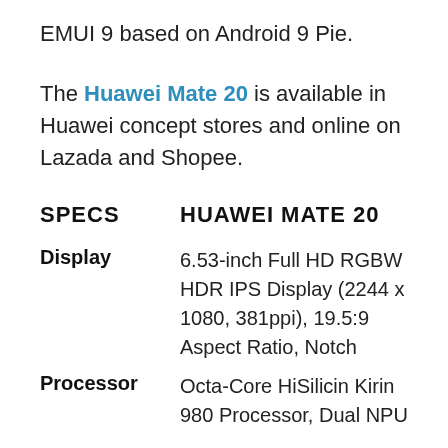EMUI 9 based on Android 9 Pie.
The Huawei Mate 20 is available in Huawei concept stores and online on Lazada and Shopee.
SPECS   HUAWEI MATE 20
| Spec | Details |
| --- | --- |
| Display | 6.53-inch Full HD RGBW HDR IPS Display (2244 x 1080, 381ppi), 19.5:9 Aspect Ratio, Notch |
| Processor | Octa-Core HiSilicin Kirin 980 Processor, Dual NPU |